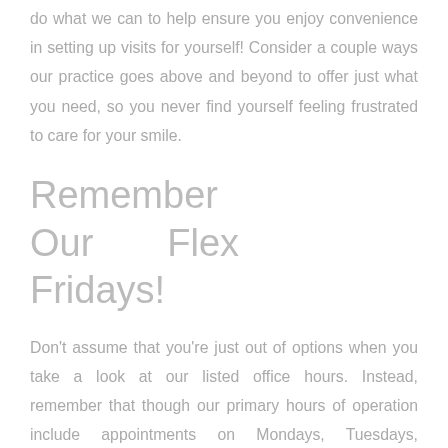do what we can to help ensure you enjoy convenience in setting up visits for yourself! Consider a couple ways our practice goes above and beyond to offer just what you need, so you never find yourself feeling frustrated to care for your smile.
Remember Our Flex Fridays!
Don't assume that you're just out of options when you take a look at our listed office hours. Instead, remember that though our primary hours of operation include appointments on Mondays, Tuesdays, Wednesdays, and Thursdays, we also offer something we call Flex Fridays